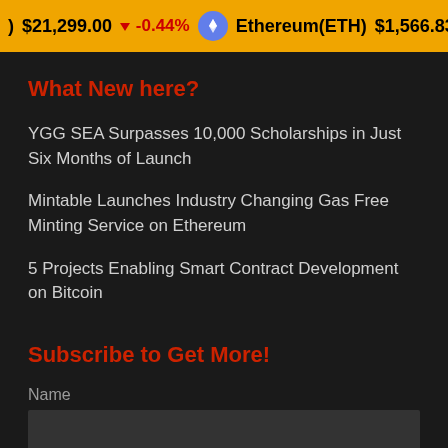) $21,299.00 ↓ -0.44% Ethereum(ETH) $1,566.83 ↓ -2.91% ₮
What New here?
YGG SEA Surpasses 10,000 Scholarships in Just Six Months of Launch
Mintable Launches Industry Changing Gas Free Minting Service on Ethereum
5 Projects Enabling Smart Contract Development on Bitcoin
Subscribe to Get More!
Name